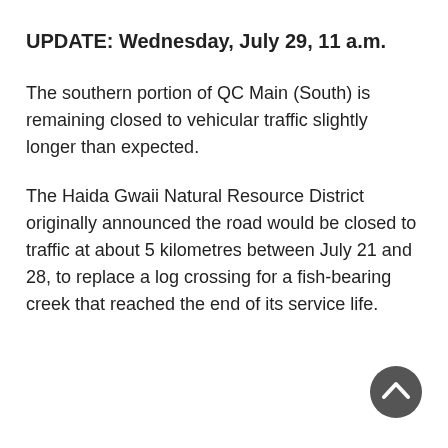UPDATE: Wednesday, July 29, 11 a.m.
The southern portion of QC Main (South) is remaining closed to vehicular traffic slightly longer than expected.
The Haida Gwaii Natural Resource District originally announced the road would be closed to traffic at about 5 kilometres between July 21 and 28, to replace a log crossing for a fish-bearing creek that reached the end of its service life.
[Figure (illustration): Dark grey circular scroll-to-top button with white upward chevron arrow, positioned bottom-right]